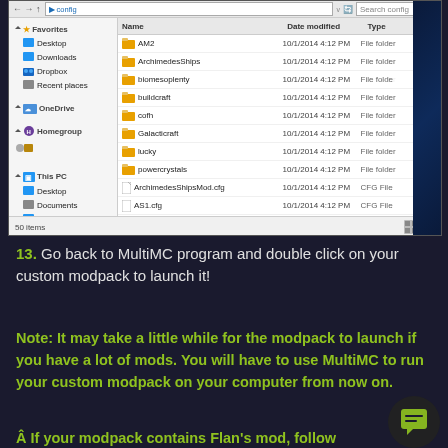[Figure (screenshot): Windows Explorer window showing a 'config' folder with subfolders (AM2, ArchimedesShips, biomesoplenty, buildcraft, cofh, Galacticraft, lucky, powercrystals) and CFG files (ArchimedesShipsMod.cfg, AS1.cfg, AutoBlocks.cfg, Autoutils.cfg, BiblioCraft.cfg). Files dated 10/1/2014 4:12 PM. Status bar shows 50 items.]
13. Go back to MultiMC program and double click on your custom modpack to launch it!
Note: It may take a little while for the modpack to launch if you have a lot of mods. You will have to use MultiMC to run your custom modpack on your computer from now on.
Â If your modpack contains Flan's mod, follow